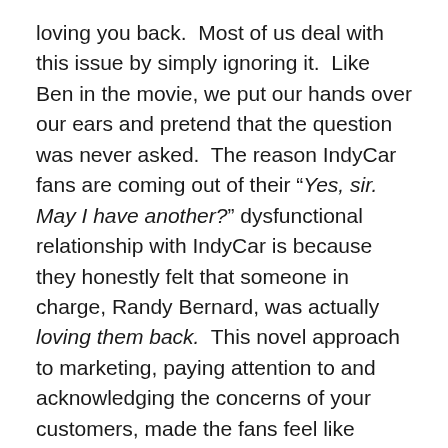loving you back.  Most of us deal with this issue by simply ignoring it.  Like Ben in the movie, we put our hands over our ears and pretend that the question was never asked.  The reason IndyCar fans are coming out of their “Yes, sir.  May I have another?” dysfunctional relationship with IndyCar is because they honestly felt that someone in charge, Randy Bernard, was actually loving them back.  This novel approach to marketing, paying attention to and acknowledging the concerns of your customers, made the fans feel like shareholders.  And the fans liked it.  But unlike the baseball fans in Boston shelling out their money to pack the stands, this reaching out to fans in IndyCar did not immediately pay the dividends of packed houses at racing venues around the country.  So like dysfunctional sports franchises across the country, the owners of IndyCar sacked their leader because he did not change